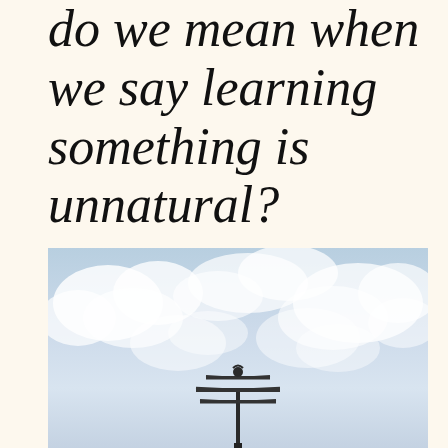do we mean when we say learning something is unnatural?
[Figure (photo): A TV antenna or radio mast mounted on a pole, photographed against a cloudy blue-white sky with cumulus clouds]